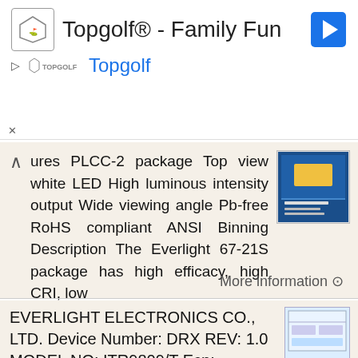[Figure (screenshot): Topgolf advertisement banner with logo, title 'Topgolf® - Family Fun', navigation icon, and blue brand name 'Topgolf']
ures PLCC-2 package Top view white LED High luminous intensity output Wide viewing angle Pb-free RoHS compliant ANSI Binning Description The Everlight 67-21S package has high efficacy, high CRI, low
More information →
EVERLIGHT ELECTRONICS CO., LTD. Device Number: DRX REV: 1.0 MODEL NO: ITR9809/T Ecn: Page:1of8 Package
MODEL NO: ITR9809/T Ecn: Page:1of8 Package Dimensions : Unit:mm Office: NO 25,Lane.76, Sec.3, Chung Yang Rd.., Tucheng 236, Taipei, Taiwan, R.O.C. TEL: 886-2-2267-2000 2267-8936, FAX: 886-2-2267-6244 2267